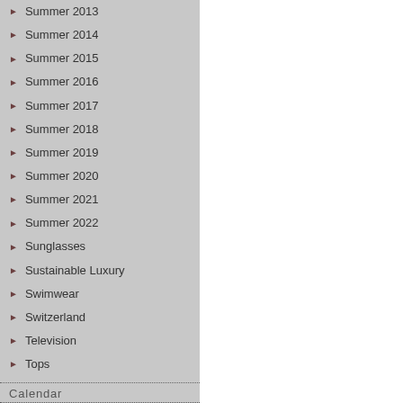Summer 2013
Summer 2014
Summer 2015
Summer 2016
Summer 2017
Summer 2018
Summer 2019
Summer 2020
Summer 2021
Summer 2022
Sunglasses
Sustainable Luxury
Swimwear
Switzerland
Television
Tops
Travel Insider
Travelling
Videos
Watches
Wedding
Her GLOSS D’ENFER, with three new s